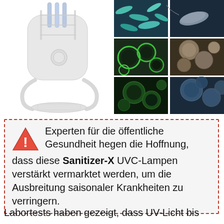[Figure (photo): UV-C sanitizer lamp device (white, portable) on the left, with a 2x3 grid of microscope images showing bacteria and microbes on the right]
Experten für die öffentliche Gesundheit hegen die Hoffnung, dass diese Sanitizer-X UVC-Lampen verstärkt vermarktet werden, um die Ausbreitung saisonaler Krankheiten zu verringern.
Labortests haben gezeigt, dass UV-Licht bis